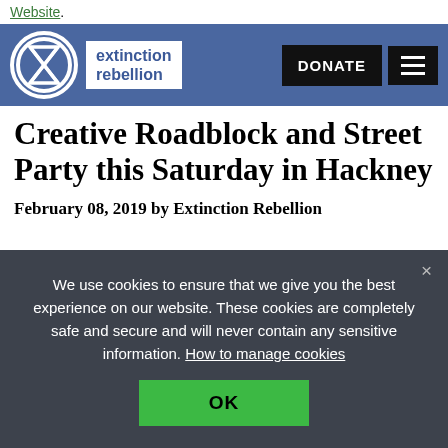Website.
[Figure (logo): Extinction Rebellion logo with circular hourglass symbol and text 'extinction rebellion' on blue navigation bar with DONATE and menu buttons]
Creative Roadblock and Street Party this Saturday in Hackney
February 08, 2019 by Extinction Rebellion
We use cookies to ensure that we give you the best experience on our website. These cookies are completely safe and secure and will never contain any sensitive information. How to manage cookies
OK